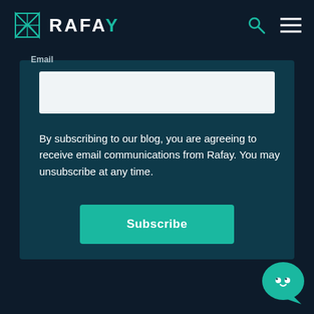RAFAY
Email
By subscribing to our blog, you are agreeing to receive email communications from Rafay. You may unsubscribe at any time.
Subscribe